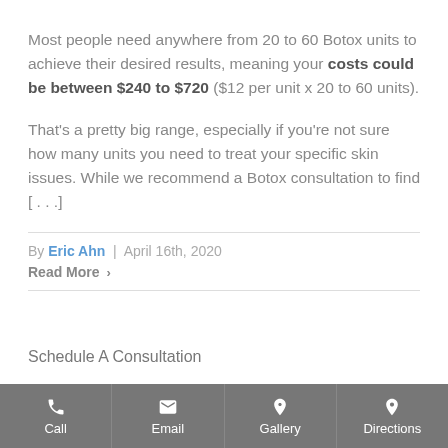Most people need anywhere from 20 to 60 Botox units to achieve their desired results, meaning your costs could be between $240 to $720 ($12 per unit x 20 to 60 units).
That's a pretty big range, especially if you're not sure how many units you need to treat your specific skin issues. While we recommend a Botox consultation to find [...]
By Eric Ahn | April 16th, 2020
Read More >
Schedule A Consultation
Call | Email | Gallery | Directions